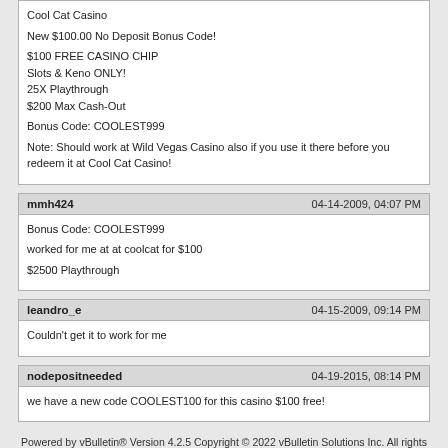Cool Cat Casino
New $100.00 No Deposit Bonus Code!

$100 FREE CASINO CHIP
Slots & Keno ONLY!
25X Playthrough
$200 Max Cash-Out

Bonus Code: COOLEST999

Note: Should work at Wild Vegas Casino also if you use it there before you redeem it at Cool Cat Casino!
mmh424 | 04-14-2009, 04:07 PM
Bonus Code: COOLEST999
worked for me at at coolcat for $100
$2500 Playthrough
leandro_e | 04-15-2009, 09:14 PM
Couldn't get it to work for me
nodepositneeded | 04-19-2015, 08:14 PM
we have a new code COOLEST100 for this casino $100 free!
Powered by vBulletin® Version 4.2.5 Copyright © 2022 vBulletin Solutions Inc. All rights reserved.